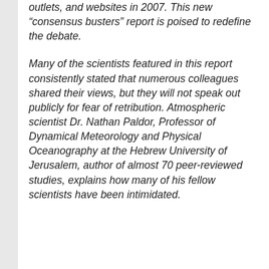outlets, and websites in 2007. This new “consensus busters” report is poised to redefine the debate.
Many of the scientists featured in this report consistently stated that numerous colleagues shared their views, but they will not speak out publicly for fear of retribution. Atmospheric scientist Dr. Nathan Paldor, Professor of Dynamical Meteorology and Physical Oceanography at the Hebrew University of Jerusalem, author of almost 70 peer-reviewed studies, explains how many of his fellow scientists have been intimidated.